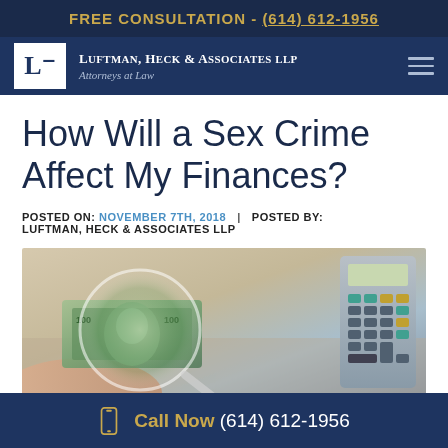FREE CONSULTATION - (614) 612-1956
LUFTMAN, HECK & ASSOCIATES LLP Attorneys at Law
How Will a Sex Crime Affect My Finances?
POSTED ON: NOVEMBER 7TH, 2018  |  POSTED BY: LUFTMAN, HECK & ASSOCIATES LLP
[Figure (photo): Photo of a hand holding a $100 bill under a magnifying glass next to a calculator on a desk]
Call Now (614) 612-1956